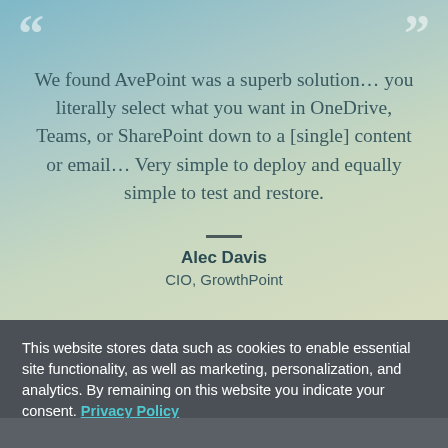“We found AvePoint was a superb solution… you literally select what you want in OneDrive, Teams, or SharePoint down to a [single] content or email… Very simple to deploy and equally simple to test and restore.”
Alec Davis
CIO, GrowthPoint
This website stores data such as cookies to enable essential site functionality, as well as marketing, personalization, and analytics. By remaining on this website you indicate your consent. Privacy Policy